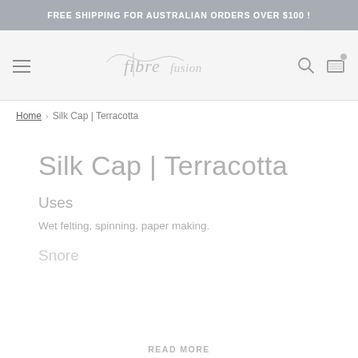FREE SHIPPING FOR AUSTRALIAN ORDERS OVER $100 !
[Figure (logo): Fibre Fusion script logo in grey]
Home › Silk Cap | Terracotta
Silk Cap | Terracotta
Uses
Wet felting, spinning. paper making.
Snore
READ MORE